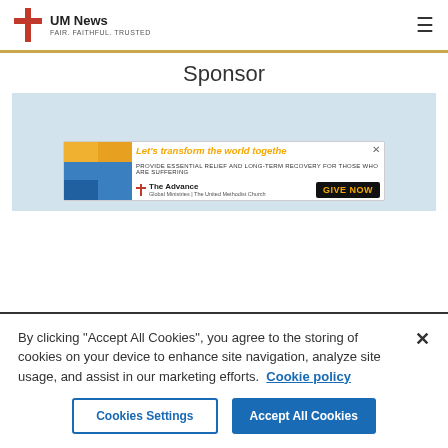UM News — FAIR. FAITHFUL. TRUSTED.
Sponsor
[Figure (illustration): Advertisement banner: 'Let's transform the world together — Provide essential relief and long-term recovery for those who are suffering. The Advance | Global Ministries | The United Methodist Church. GIVE NOW']
By clicking "Accept All Cookies", you agree to the storing of cookies on your device to enhance site navigation, analyze site usage, and assist in our marketing efforts. Cookie policy